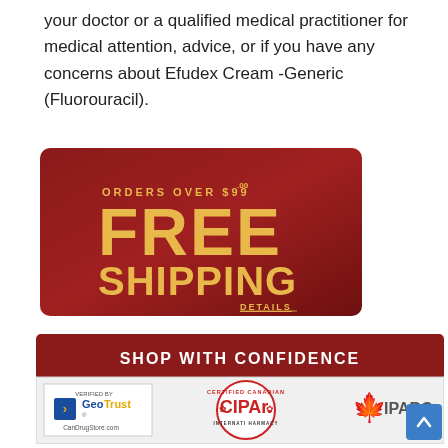your doctor or a qualified medical practitioner for medical attention, advice, or if you have any concerns about Efudex Cream -Generic (Fluorouracil).
[Figure (infographic): Dark red banner ad: 'ORDERS OVER $99.00 FREE SHIPPING DETAILS' in gold text on a dark red/maroon gradient background with rounded corners.]
[Figure (infographic): Dark red banner: 'SHOP WITH CONFIDENCE' in white bold text, followed by a white row showing GeoTrust (CanDrugStore.com), CIPA Certified Canadian International Pharmacy, and IPABC logos.]